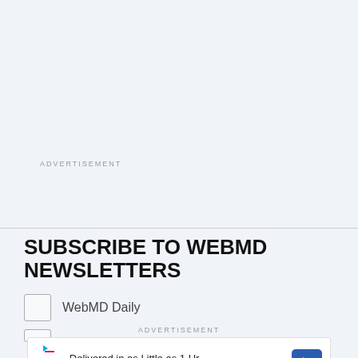ADVERTISEMENT
SUBSCRIBE TO WEBMD NEWSLETTERS
WebMD Daily
ADVERTISEMENT
[Figure (other): Walgreens Photo advertisement banner: 'Delivered in as Little as 1 Hr, Walgreens Photo']